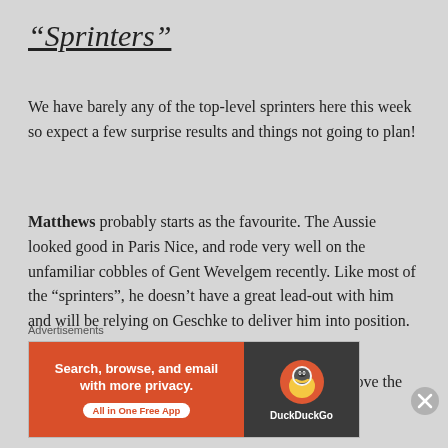“Sprinters”
We have barely any of the top-level sprinters here this week so expect a few surprise results and things not going to plan!
Matthews probably starts as the favourite. The Aussie looked good in Paris Nice, and rode very well on the unfamiliar cobbles of Gent Wevelgem recently. Like most of the “sprinters”, he doesn’t have a great lead-out with him and will be relying on Geschke to deliver him into position.
Bennett arrives as the other sprinter who’s a cut above the rest. The Irishman took a great stage win in
Advertisements
[Figure (other): DuckDuckGo advertisement banner: orange left panel with text 'Search, browse, and email with more privacy. All in One Free App' and dark right panel with DuckDuckGo duck logo and brand name.]